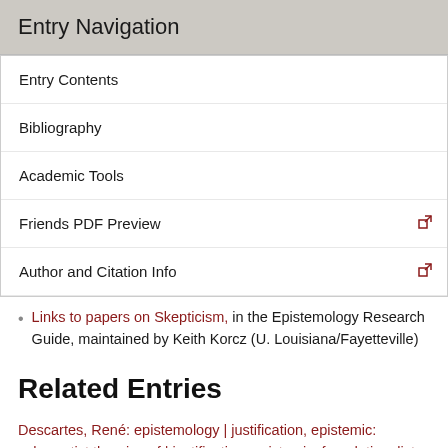Entry Navigation
Entry Contents
Bibliography
Academic Tools
Friends PDF Preview
Author and Citation Info
Links to papers on Skepticism, in the Epistemology Research Guide, maintained by Keith Korcz (U. Louisiana/Fayetteville)
Related Entries
Descartes, René: epistemology | justification, epistemic: coherentist theories of | justification, epistemic: foundationalist theories of | justification, epistemic: internalist vs. externalist conceptions of | skepticism: ancient